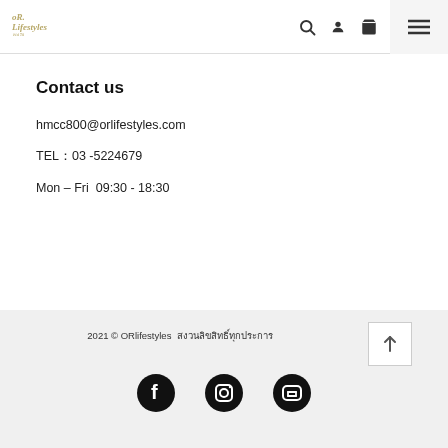OR. Lifestyles (logo) | search | user | cart | menu
Contact us
hmcc800@orlifestyles.com
TEL：03 - 5224679
Mon – Fri  09:30 - 18:30
2021 © ORlifestyles สงวนลิขสิทธิ์ทุกประการ